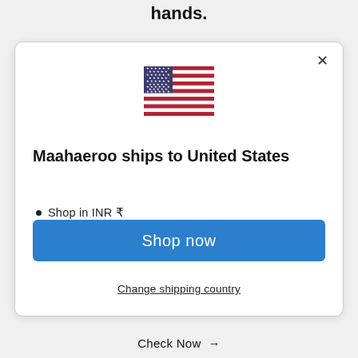hands.
[Figure (illustration): US flag emoji/icon shown inside modal dialog]
Maahaeroo ships to United States
Shop in INR ₹
Get shipping options for United States
Shop now
Change shipping country
Check Now →